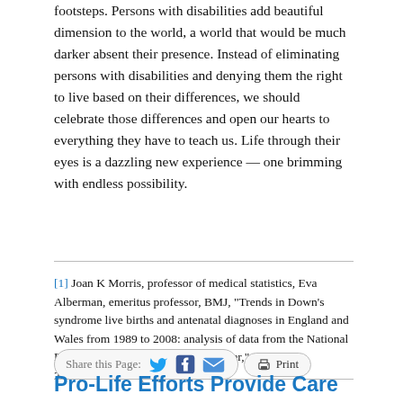footsteps. Persons with disabilities add beautiful dimension to the world, a world that would be much darker absent their presence. Instead of eliminating persons with disabilities and denying them the right to live based on their differences, we should celebrate those differences and open our hearts to everything they have to teach us. Life through their eyes is a dazzling new experience — one brimming with endless possibility.
[1] Joan K Morris, professor of medical statistics, Eva Alberman, emeritus professor, BMJ, "Trends in Down's syndrome live births and antenatal diagnoses in England and Wales from 1989 to 2008: analysis of data from the National Down Syndrome Cytogenetic Register," BMJ 2009;339:b3794. (bmj.com).
Share this Page: [Twitter] [Facebook] [Email] Print
Pro-Life Efforts Provide Care